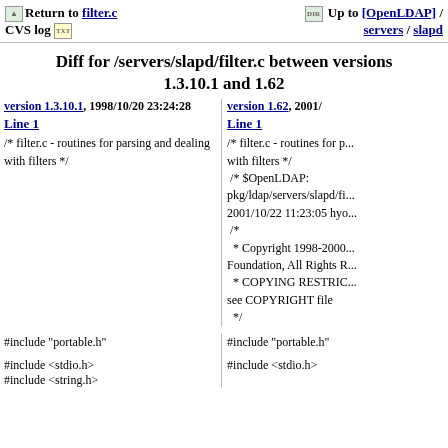[BACK] Return to filter.c CVS log [TXT] | [DIR] Up to [OpenLDAP] / servers / slapd
Diff for /servers/slapd/filter.c between versions 1.3.10.1 and 1.62
version 1.3.10.1, 1998/10/20 23:24:28
Line 1
/* filter.c - routines for parsing and dealing with filters */
#include "portable.h"
#include <stdio.h>
#include <string.h>
version 1.62, 2001/...
Line 1
/* filter.c - routines for parsing and dealing with filters */
 /* $OpenLDAP: pkg/ldap/servers/slapd/fi... 2001/10/22 11:23:05 hyo...
 /*
  * Copyright 1998-2000... Foundation, All Rights R...
  * COPYING RESTRIC... see COPYRIGHT file
  */
#include "portable.h"
#include <stdio.h>